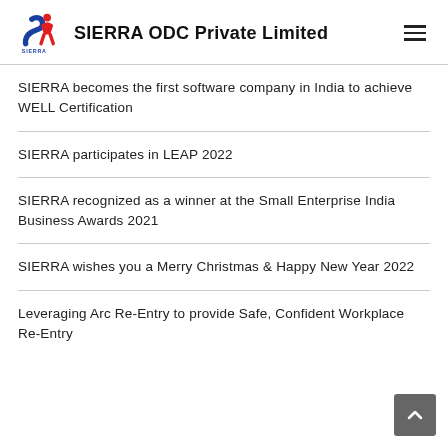SIERRA ODC Private Limited
SIERRA becomes the first software company in India to achieve WELL Certification
SIERRA participates in LEAP 2022
SIERRA recognized as a winner at the Small Enterprise India Business Awards 2021
SIERRA wishes you a Merry Christmas & Happy New Year 2022
Leveraging Arc Re-Entry to provide Safe, Confident Workplace Re-Entry